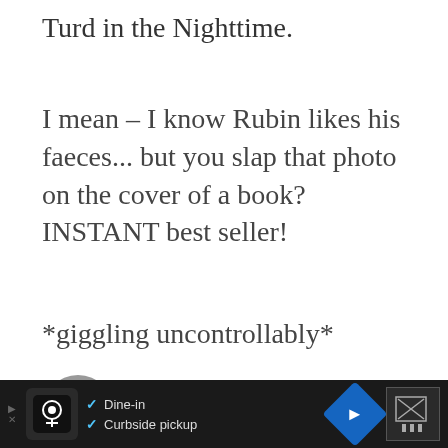Turd in the Nighttime.
I mean – I know Rubin likes his faeces... but you slap that photo on the cover of a book? INSTANT best seller!
*giggling uncontrollably*
MAY 19, 2008
[Figure (photo): Circular avatar photo of a person with dark hair, partially visible at bottom of page]
[Figure (screenshot): Advertisement bar at bottom: dark background with restaurant logo, dine-in and curbside pickup options with blue checkmarks, navigation arrow icon, and close button]